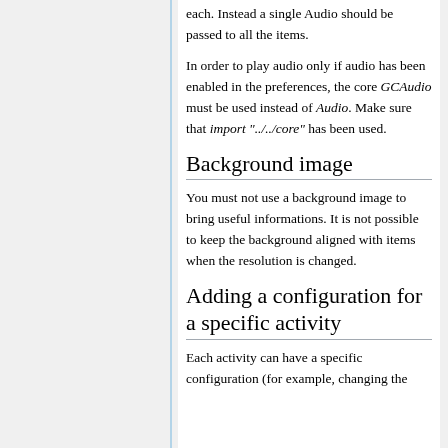each. Instead a single Audio should be passed to all the items.
In order to play audio only if audio has been enabled in the preferences, the core GCAudio must be used instead of Audio. Make sure that import "../../core" has been used.
Background image
You must not use a background image to bring useful informations. It is not possible to keep the background aligned with items when the resolution is changed.
Adding a configuration for a specific activity
Each activity can have a specific configuration (for example, changing the